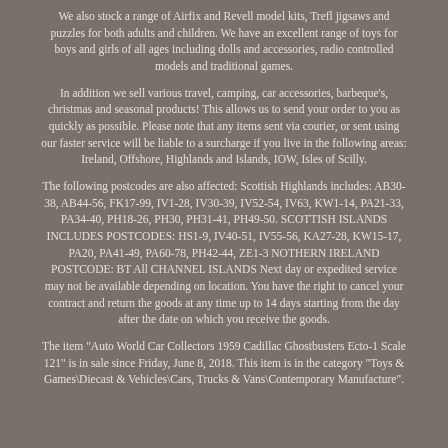We also stock a range of Airfix and Revell model kits, Trefl jigsaws and puzzles for both adults and children. We have an excellent range of toys for boys and girls of all ages including dolls and accessories, radio controlled models and traditional games.
In addition we sell various travel, camping, car accessories, barbeque's, christmas and seasonal products! This allows us to send your order to you as quickly as possible. Please note that any items sent via courier, or sent using our faster service will be liable to a surcharge if you live in the following areas: Ireland, Offshore, Highlands and Islands, IOW, Isles of Scilly.
The following postcodes are also affected: Scottish Highlands includes: AB30-38, AB44-56, FK17-99, IV1-28, IV30-39, IV52-54, IV63, KW1-14, PA21-33, PA34-40, PH18-26, PH30, PH31-41, PH49-50. SCOTTISH ISLANDS INCLUDES POSTCODES: HS1-9, IV40-51, IV55-56, KA27-28, KW15-17, PA20, PA41-49, PA60-78, PH42-44, ZE1-3 NOTHERN IRELAND POSTCODE: BT All CHANNEL ISLANDS Next day or expedited service may not be available depending on location. You have the right to cancel your contract and return the goods at any time up to 14 days starting from the day after the date on which you receive the goods.
The item "Auto World Car Collectors 1959 Cadillac Ghostbusters Ecto-1 Scale 121" is in sale since Friday, June 8, 2018. This item is in the category "Toys & Games\Diecast & Vehicles\Cars, Trucks & Vans\Contemporary Manufacture".